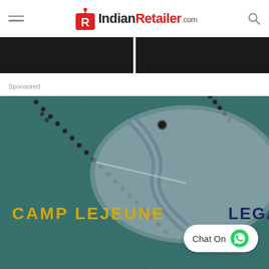IndianRetailer.com
[Figure (photo): Two dark thumbnail images side by side at top of page]
Sponsored
[Figure (photo): Camp Lejeune Legal advertisement showing military dog tags on dark teal leather background with text CAMP LEJEUNE LEGAL and Chat On WhatsApp button]